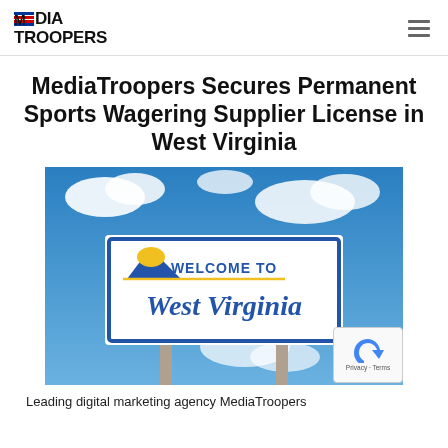MEDIA TROOPERS
MediaTroopers Secures Permanent Sports Wagering Supplier License in West Virginia
[Figure (photo): A 'Welcome to West Virginia' road sign against a blue sky with clouds]
Leading digital marketing agency MediaTroopers